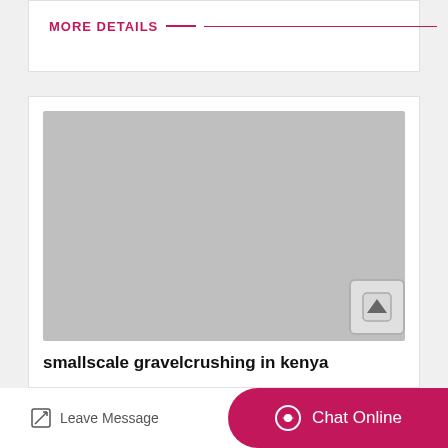MORE DETAILS
[Figure (photo): Large grey placeholder image area with an up-arrow button in the bottom right corner]
smallscale gravelcrushing in kenya
Leave Message   Chat Online